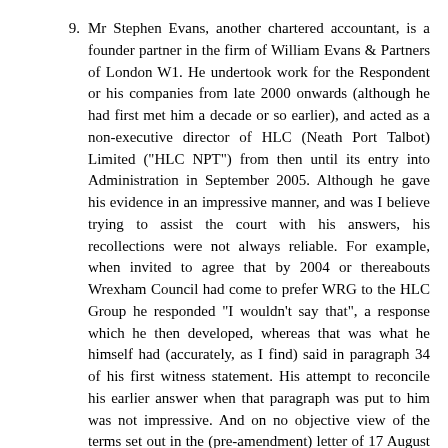9. Mr Stephen Evans, another chartered accountant, is a founder partner in the firm of William Evans & Partners of London W1. He undertook work for the Respondent or his companies from late 2000 onwards (although he had first met him a decade or so earlier), and acted as a non-executive director of HLC (Neath Port Talbot) Limited ("HLC NPT") from then until its entry into Administration in September 2005. Although he gave his evidence in an impressive manner, and was I believe trying to assist the court with his answers, his recollections were not always reliable. For example, when invited to agree that by 2004 or thereabouts Wrexham Council had come to prefer WRG to the HLC Group he responded "I wouldn't say that", a response which he then developed, whereas that was what he himself had (accurately, as I find) said in paragraph 34 of his first witness statement. His attempt to reconcile his earlier answer when that paragraph was put to him was not impressive. And on no objective view of the terms set out in the (pre-amendment) letter of 17 August 2005 and in the agreement of 11 December 2007 could they be said to bear no relationship to one another, as Mr Evans suggested in his oral evidence. I have not found evaluating Mr Evans' evidence overall easy, but I conclude that some aspects of it have been shown to be unreliable, and, bearing in mind that the more significant inaccuracies would all have tended (had they been correct)